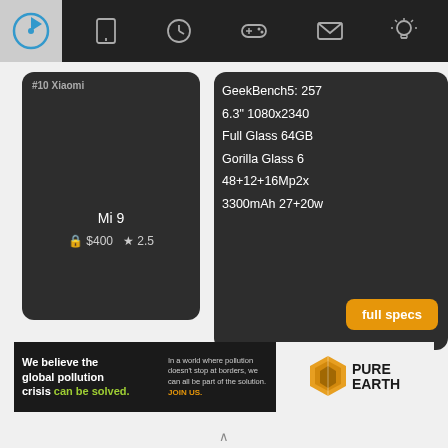Navigation bar with logo and icons: tablet, clock, gamepad, mail, lightbulb
[Figure (screenshot): Dark product card for Xiaomi Mi 9 showing price $400 and rating 2.5 stars]
[Figure (screenshot): Dark product card showing specs: GeekBench5: 257, 6.3" 1080x2340, Full Glass 64GB, Gorilla Glass 6, 48+12+16Mp2x, 3300mAh 27+20w, with orange 'full specs' button]
[Figure (advertisement): Pure Earth ad banner: 'We believe the global pollution crisis can be solved. In a world where pollution doesn't stop at borders, we can all be part of the solution. JOIN US.' with Pure Earth logo]
^